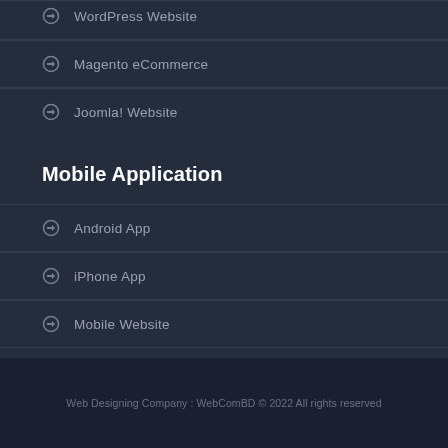WordPress Website
Magento eCommerce
Joomla! Website
Mobile Application
Android App
iPhone App
Mobile Website
Web Designing Company : WebComBD © 2022 All rights reserved